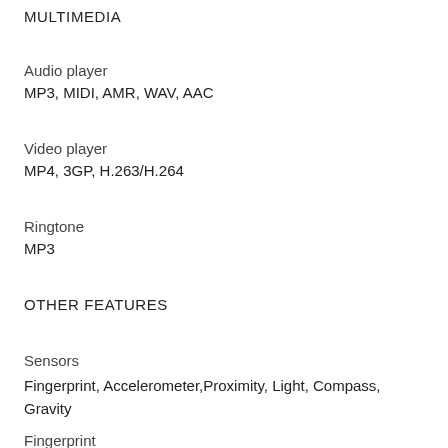MULTIMEDIA
Audio player
MP3, MIDI, AMR, WAV, AAC
Video player
MP4, 3GP, H.263/H.264
Ringtone
MP3
OTHER FEATURES
Sensors
Fingerprint, Accelerometer,Proximity, Light, Compass, Gravity
Fingerprint